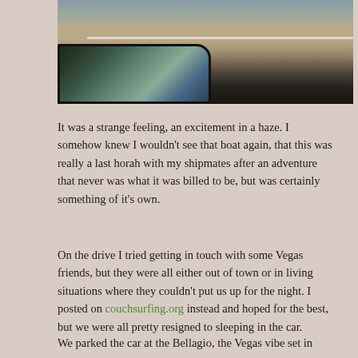[Figure (photo): View from inside a moving car showing the side mirror reflecting a desert road, with an arid landscape visible through the window]
It was a strange feeling, an excitement in a haze. I somehow knew I wouldn't see that boat again, that this was really a last horah with my shipmates after an adventure that never was what it was billed to be, but was certainly something of it's own.
On the drive I tried getting in touch with some Vegas friends, but they were all either out of town or in living situations where they couldn't put us up for the night. I posted on couchsurfing.org instead and hoped for the best, but we were all pretty resigned to sleeping in the car.
We parked the car at the Bellagio, the Vegas vibe set in